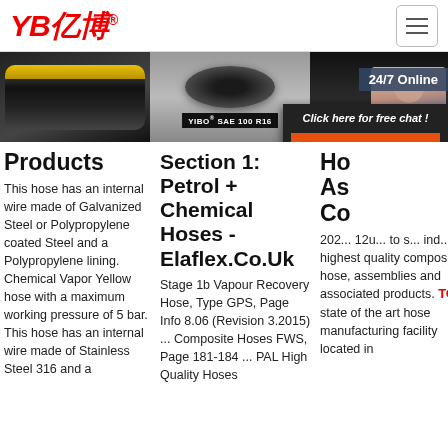[Figure (logo): YB亿博 company logo in red italic text with registered trademark symbol]
[Figure (photo): Three product images: black rubber hose with yellow stripe, braided YIBO SAE 100 R16 hose, and black hose with 24/7 Online badge and customer service agent]
Products
This hose has an internal wire made of Galvanized Steel or Polypropylene coated Steel and a Polypropylene lining. Chemical Vapor Yellow hose with a maximum working pressure of 5 bar. This hose has an internal wire made of Stainless Steel 316 and a
Section 1: Petrol + Chemical Hoses - Elaflex.Co.Uk
Stage 1b Vapour Recovery Hose, Type GPS, Page Info 8.06 (Revision 3.2015) ... Composite Hoses FWS, Page 181-184 ... PAL High Quality Hoses
Ho As Co
202... 12u... to s... ind... highest quality composite hose, assemblies and associated products. Our state of the art hose manufacturing facility located in